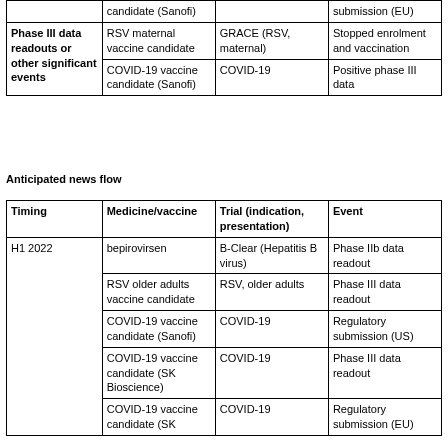|  | Medicine/vaccine | Trial (indication, presentation) | Event |
| --- | --- | --- | --- |
|  | candidate (Sanofi) |  | submission (EU) |
| Phase III data readouts or other significant events | RSV maternal vaccine candidate | GRACE (RSV, maternal) | Stopped enrolment and vaccination |
|  | COVID-19 vaccine candidate (Sanofi) | COVID-19 | Positive phase III data |
Anticipated news flow
| Timing | Medicine/vaccine | Trial (indication, presentation) | Event |
| --- | --- | --- | --- |
| H1 2022 | bepirovirsen | B-Clear (Hepatitis B virus) | Phase IIb data readout |
|  | RSV older adults vaccine candidate | RSV, older adults | Phase III data readout |
|  | COVID-19 vaccine candidate (Sanofi) | COVID-19 | Regulatory submission (US) |
|  | COVID-19 vaccine candidate (SK Bioscience) | COVID-19 | Phase III data readout |
|  | COVID-19 vaccine candidate (SK | COVID-19 | Regulatory submission (EU) |